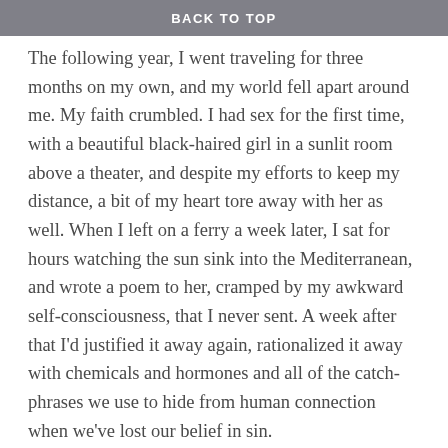BACK TO TOP
The following year, I went traveling for three months on my own, and my world fell apart around me. My faith crumbled. I had sex for the first time, with a beautiful black-haired girl in a sunlit room above a theater, and despite my efforts to keep my distance, a bit of my heart tore away with her as well. When I left on a ferry a week later, I sat for hours watching the sun sink into the Mediterranean, and wrote a poem to her, cramped by my awkward self-consciousness, that I never sent. A week after that I'd justified it away again, rationalized it away with chemicals and hormones and all of the catch-phrases we use to hide from human connection when we've lost our belief in sin.
I found new things to be ashamed of. I was afraid of impotence, of being too quick, of not being good enough, of the nakedness of my mind and my soul that comes with sex, and again, I blamed women. If I felt bad, it was because